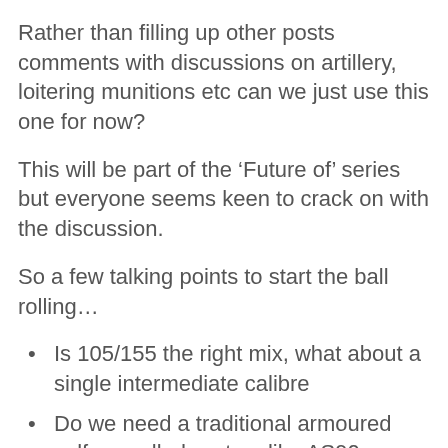Rather than filling up other posts comments with discussions on artillery, loitering munitions etc can we just use this one for now?
This will be part of the ‘Future of’ series but everyone seems keen to crack on with the discussion.
So a few talking points to start the ball rolling…
Is 105/155 the right mix, what about a single intermediate calibre
Do we need a traditional armoured self-propelled system like AS90 anymore
Where do mortars fit in, is there a case, for